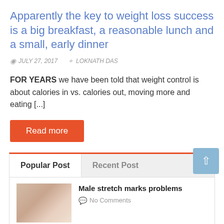Apparently the key to weight loss success is a big breakfast, a reasonable lunch and a small, early dinner
JULY 27, 2017   LOKNATH DAS
FOR YEARS we have been told that weight control is about calories in vs. calories out, moving more and eating [...]
Read more
Popular Post
Recent Post
Male stretch marks problems
No Comments
AI-Powered CRM, Mobile QA Tool Win at